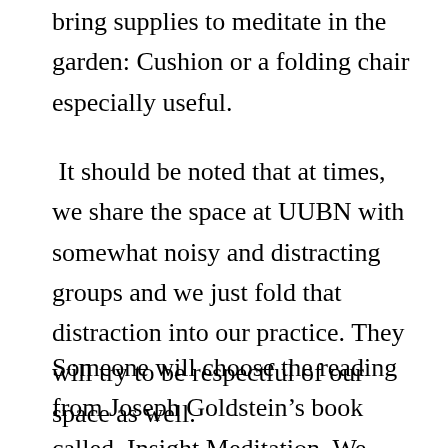bring supplies to meditate in the garden: Cushion or a folding chair especially useful.
It should be noted that at times, we share the space at UUBN with somewhat noisy and distracting groups and we just fold that distraction into our practice. They will try to be respectful of our space as well.
Someone will choose the reading from Joseph Goldstein’s book called, Insight Meditation. We will read a chapter a week during our session. We also welcome other Buddhist